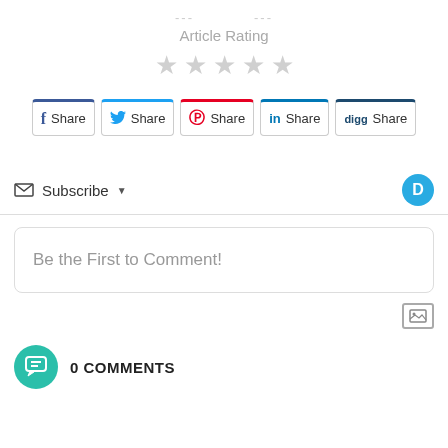Article Rating
[Figure (infographic): Five empty star rating icons in light gray]
[Figure (infographic): Social share buttons: Facebook Share, Twitter Share, Pinterest Share, LinkedIn Share, Digg Share]
Subscribe
Be the First to Comment!
0 COMMENTS